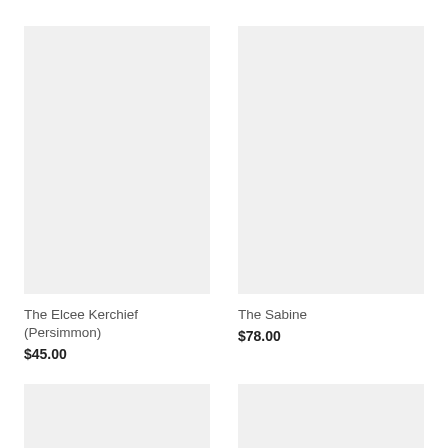[Figure (photo): Product image placeholder for The Elcee Kerchief (Persimmon) - light gray rectangle]
[Figure (photo): Product image placeholder for The Sabine - light gray rectangle]
The Elcee Kerchief (Persimmon)
$45.00
The Sabine
$78.00
[Figure (photo): Product image placeholder - light gray rectangle, partially visible at bottom left]
[Figure (photo): Product image placeholder - light gray rectangle, partially visible at bottom right]